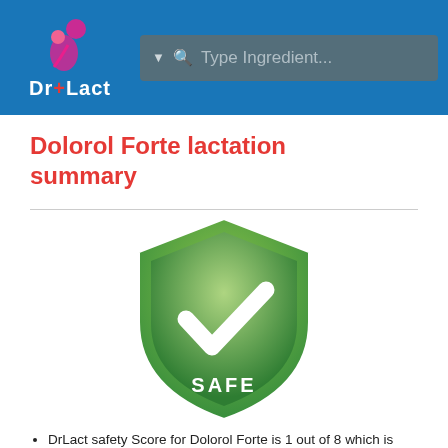Dr+Lact | Type Ingredient...
Dolorol Forte lactation summary
[Figure (illustration): Green shield badge with a white checkmark in the center and the word SAFE written in white at the bottom, indicating a safe lactation rating.]
DrLact safety Score for Dolorol Forte is 1 out of 8 which is considered Safe as per our analyses.
A safety Score of 1 indicates that usage of Dolorol